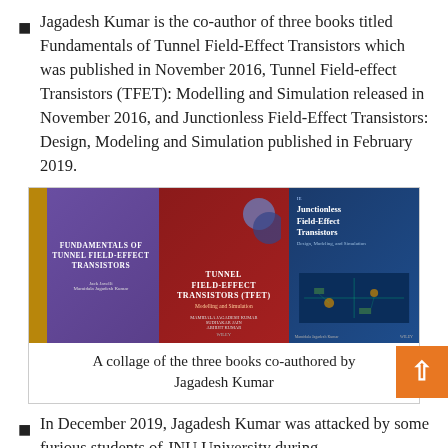Jagadesh Kumar is the co-author of three books titled Fundamentals of Tunnel Field-Effect Transistors which was published in November 2016, Tunnel Field-effect Transistors (TFET): Modelling and Simulation released in November 2016, and Junctionless Field-Effect Transistors: Design, Modeling and Simulation published in February 2019.
[Figure (photo): A collage of three book covers: (1) Fundamentals of Tunnel Field-Effect Transistors (purple cover), (2) Tunnel Field-Effect Transistors (TFET): Modelling and Simulation (dark red cover), (3) Junctionless Field-Effect Transistors (dark blue cover). All published by Wiley.]
A collage of the three books co-authored by Jagadesh Kumar
In December 2019, Jagadesh Kumar was attacked by some furious students of JNU University during